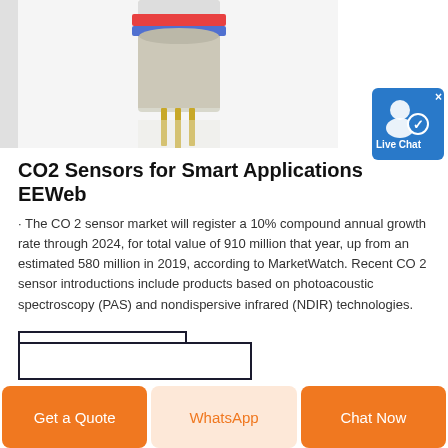[Figure (photo): CO2 sensor component — cylindrical sensor with gold pins and colored rings, on white background, partially cropped at top]
[Figure (screenshot): Live Chat button widget — blue rounded rectangle with user icon and checkmark, white X close button, 'Live Chat' label]
CO2 Sensors for Smart Applications EEWeb
· The CO 2 sensor market will register a 10% compound annual growth rate through 2024, for total value of 910 million that year, up from an estimated 580 million in 2019, according to MarketWatch. Recent CO 2 sensor introductions include products based on photoacoustic spectroscopy (PAS) and nondispersive infrared (NDIR) technologies.
GET PRICE
Get a Quote
WhatsApp
Chat Now